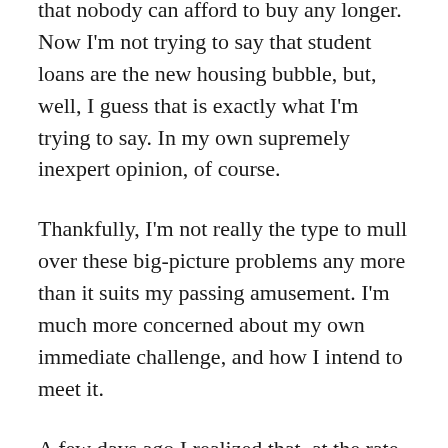that nobody can afford to buy any longer. Now I'm not trying to say that student loans are the new housing bubble, but, well, I guess that is exactly what I'm trying to say. In my own supremely inexpert opinion, of course.
Thankfully, I'm not really the type to mull over these big-picture problems any more than it suits my passing amusement. I'm much more concerned about my own immediate challenge, and how I intend to meet it.
A few days ago I realized that, at the rate I was casually tucking money away into my Sallie Mae account, I was going to be approaching 50 before I could finally boast of being free from the shackles of my college education. I briefly considered returning to school to rack up three times as much debt, in order to obtain a career that would be high paying enough to pay off the entire load before I